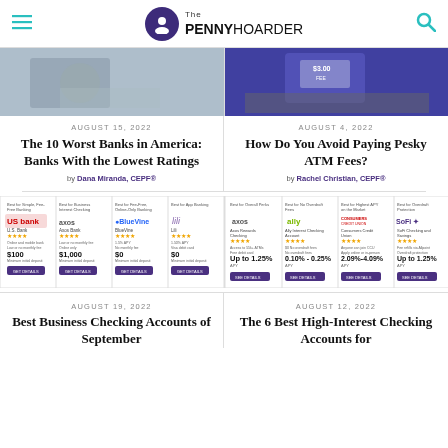The PENNY HOARDER
[Figure (photo): Person holding money at ATM or bank]
[Figure (photo): ATM machine with $3.00 fee sign and money falling]
AUGUST 15, 2022
The 10 Worst Banks in America: Banks With the Lowest Ratings
by Dana Miranda, CEPF®
AUGUST 4, 2022
How Do You Avoid Paying Pesky ATM Fees?
by Rachel Christian, CEPF®
[Figure (screenshot): Best business checking accounts widget showing US Bank, Axos Bank, BlueVine, Lili]
[Figure (screenshot): Best high-interest checking accounts widget showing Axos, Ally, Consumers Credit Union, SoFi]
AUGUST 19, 2022
Best Business Checking Accounts of September
AUGUST 12, 2022
The 6 Best High-Interest Checking Accounts for